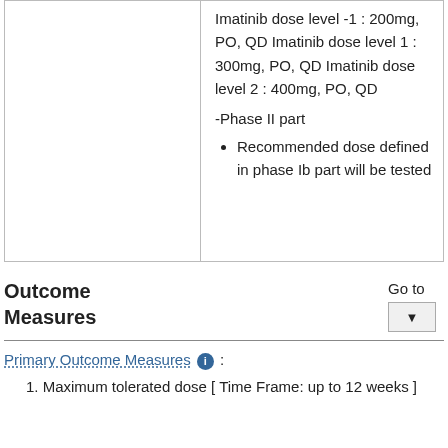|  |  |
| --- | --- |
|  | Imatinib dose level -1 : 200mg, PO, QD Imatinib dose level 1 : 300mg, PO, QD Imatinib dose level 2 : 400mg, PO, QD

-Phase II part
• Recommended dose defined in phase Ib part will be tested |
Outcome Measures
Go to
Primary Outcome Measures ℹ :
1. Maximum tolerated dose [ Time Frame: up to 12 weeks ]